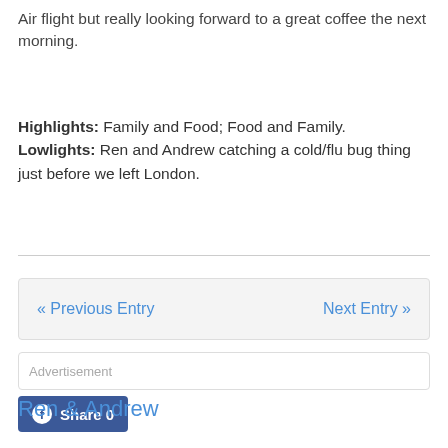Air flight but really looking forward to a great coffee the next morning.
Highlights: Family and Food; Food and Family.
Lowlights: Ren and Andrew catching a cold/flu bug thing just before we left London.
« Previous Entry    Next Entry »
Advertisement
Share 0
Comment  Subscribe  Message
Ren & Andrew